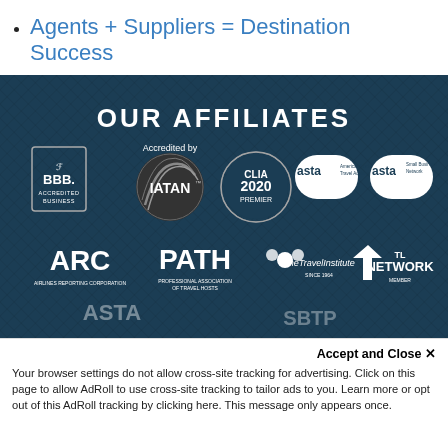Agents + Suppliers = Destination Success
[Figure (infographic): OUR AFFILIATES section on dark navy background with diagonal pattern, showing logos: BBB Accredited Business, IATAN (Accredited by), CLIA 2020 Premier, ASTA American Society of Travel Advisors, ASTA Small Business Network, ARC Airlines Reporting Corporation, PATH Professional Association of Travel Hosts, The Travel Institute, TL Network Member]
Accept and Close ✕
Your browser settings do not allow cross-site tracking for advertising. Click on this page to allow AdRoll to use cross-site tracking to tailor ads to you. Learn more or opt out of this AdRoll tracking by clicking here. This message only appears once.